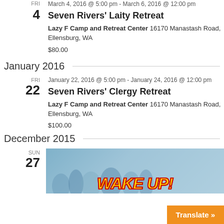March 4, 2016 @ 5:00 pm - March 6, 2016 @ 12:00 pm
Seven Rivers' Laity Retreat
Lazy F Camp and Retreat Center 16170 Manastash Road, Ellensburg, WA
$80.00
January 2016
January 22, 2016 @ 5:00 pm - January 24, 2016 @ 12:00 pm
Seven Rivers' Clergy Retreat
Lazy F Camp and Retreat Center 16170 Manastash Road, Ellensburg, WA
$100.00
December 2015
[Figure (photo): WAKE UP! promotional event image with people in background, blue tinted photo with large stylized text]